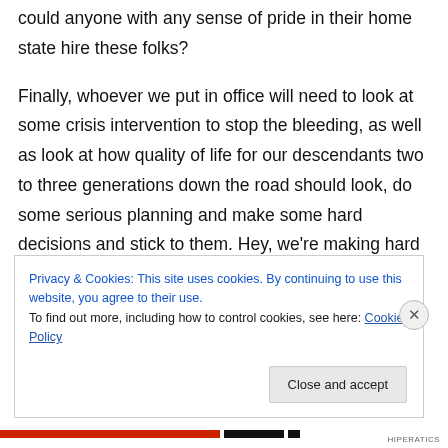could anyone with any sense of pride in their home state hire these folks?

Finally, whoever we put in office will need to look at some crisis intervention to stop the bleeding, as well as look at how quality of life for our descendants two to three generations down the road should look, do some serious planning and make some hard decisions and stick to them. Hey, we're making hard decisions now but in a totally reactive mode. How about making
Privacy & Cookies: This site uses cookies. By continuing to use this website, you agree to their use.
To find out more, including how to control cookies, see here: Cookie Policy